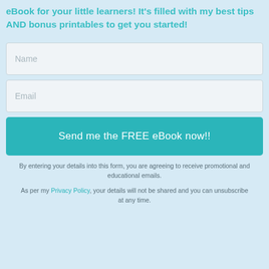eBook for your little learners! It's filled with my best tips AND bonus printables to get you started!
Name
Email
Send me the FREE eBook now!!
By entering your details into this form, you are agreeing to receive promotional and educational emails.
As per my Privacy Policy, your details will not be shared and you can unsubscribe at any time.